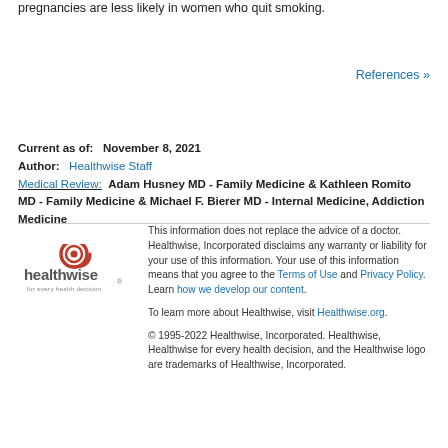pregnancies are less likely in women who quit smoking.
References »
Current as of:   November 8, 2021
Author:   Healthwise Staff
Medical Review:  Adam Husney MD - Family Medicine & Kathleen Romito MD - Family Medicine & Michael F. Bierer MD - Internal Medicine, Addiction Medicine
[Figure (logo): Healthwise logo with tagline 'for every health decision']
This information does not replace the advice of a doctor. Healthwise, Incorporated disclaims any warranty or liability for your use of this information. Your use of this information means that you agree to the Terms of Use and Privacy Policy. Learn how we develop our content.

To learn more about Healthwise, visit Healthwise.org.

© 1995-2022 Healthwise, Incorporated. Healthwise, Healthwise for every health decision, and the Healthwise logo are trademarks of Healthwise, Incorporated.